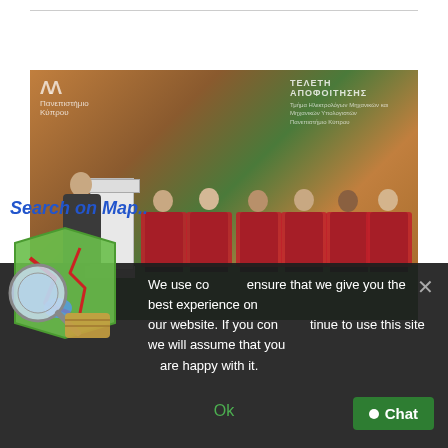[Figure (photo): University of Cyprus graduation/ceremony event on stage. A speaker at a podium on the left, with several academics seated in black and red academic robes on a green-floored stage. University of Cyprus logo visible top-left, Greek text banner top-right reading ΤΕΛΕΤΗ ΑΠΟΦΟΙΤΗΣΗΣ.]
We use cookies to ensure that we give you the best experience on our website. If you continue to use this site we will assume that you are happy with it.
Ok
Chat